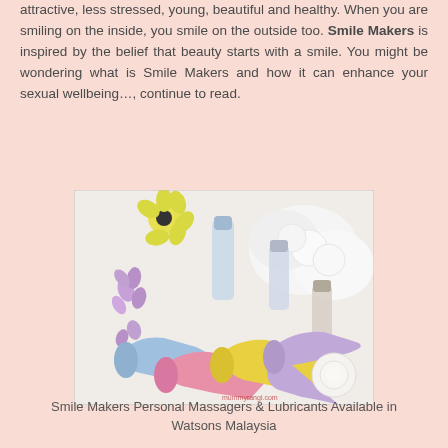attractive, less stressed, young, beautiful and healthy. When you are smiling on the inside, you smile on the outside too. Smile Makers is inspired by the belief that beauty starts with a smile. You might be wondering what is Smile Makers and how it can enhance your sexual wellbeing…, continue to read.
[Figure (photo): Photo of Smile Makers personal massagers and lubricants — colorful pastel handheld massager devices (blue, pink, yellow, lavender) and several cylindrical lubricant bottles with silver caps, arranged on a white surface with white roses and flowers in the background. Watermark reads mummyrangi.com]
Smile Makers Personal Massagers & Lubricants Available in Watsons Malaysia